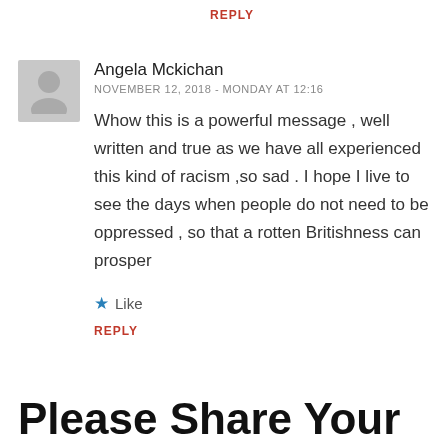REPLY
Angela Mckichan
NOVEMBER 12, 2018 - MONDAY AT 12:16
Whow this is a powerful message , well written and true as we have all experienced this kind of racism ,so sad . I hope I live to see the days when people do not need to be oppressed , so that a rotten Britishness can prosper
Like
REPLY
Please Share Your